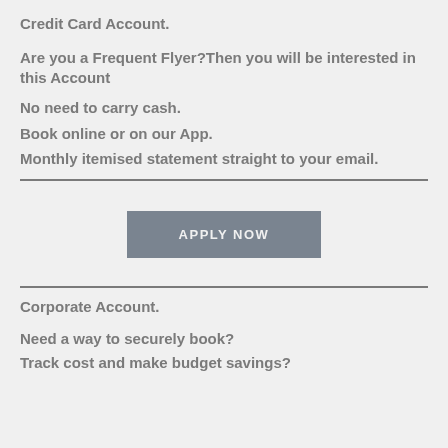Credit Card Account.
Are you a Frequent Flyer?Then you will be interested in this Account
No need to carry cash.
Book online or on our App.
Monthly itemised statement straight to your email.
Corporate Account.
Need a way to securely book?
Track cost and make budget savings?